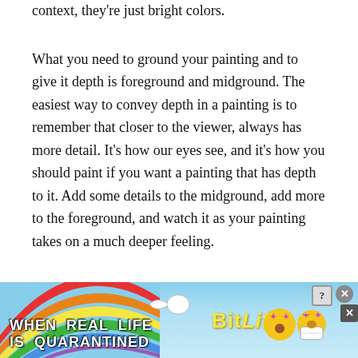context, they're just bright colors.
What you need to ground your painting and to give it depth is foreground and midground. The easiest way to convey depth in a painting is to remember that closer to the viewer, always has more detail. It's how our eyes see, and it's how you should paint if you want a painting that has depth to it. Add some details to the midground, add more to the foreground, and watch it as your painting takes on a much deeper feeling.
Draw On Location
[Figure (infographic): Mobile game advertisement banner for BitLife game. Shows rainbow stripes on left, text 'WHEN REAL LIFE IS QUARANTINED' in white bold caps, a sperm emoji graphic, BitLife yellow logo text, and emoji characters on right side. Close/help/X buttons in top-right corner.]